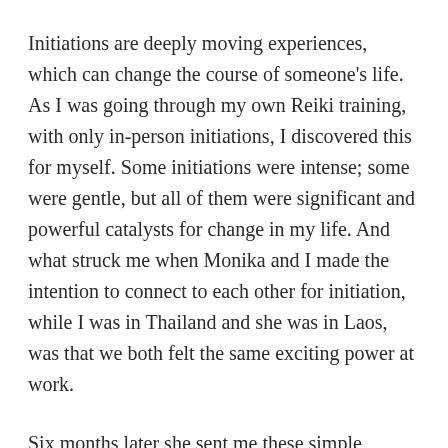Initiations are deeply moving experiences, which can change the course of someone's life. As I was going through my own Reiki training, with only in-person initiations, I discovered this for myself. Some initiations were intense; some were gentle, but all of them were significant and powerful catalysts for change in my life. And what struck me when Monika and I made the intention to connect to each other for initiation, while I was in Thailand and she was in Laos, was that we both felt the same exciting power at work.
Six months later she sent me these simple words: